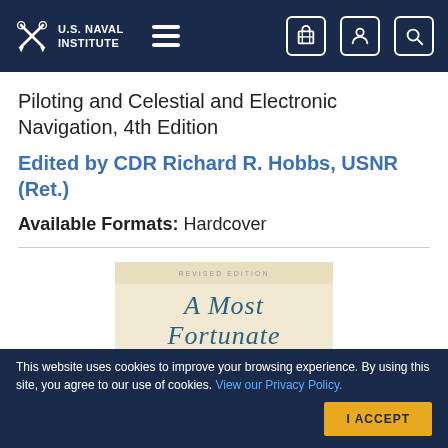U.S. Naval Institute
Piloting and Celestial and Electronic Navigation, 4th Edition
Edited by CDR Richard R. Hobbs, USNR (Ret.)
Available Formats: Hardcover
[Figure (illustration): Book cover of 'A Most Fortunate Ship' with cursive title text on a cream/beige background with a circular nautical illustration]
This website uses cookies to improve your browsing experience. By using this site, you agree to our use of cookies. View our Privacy Policy.